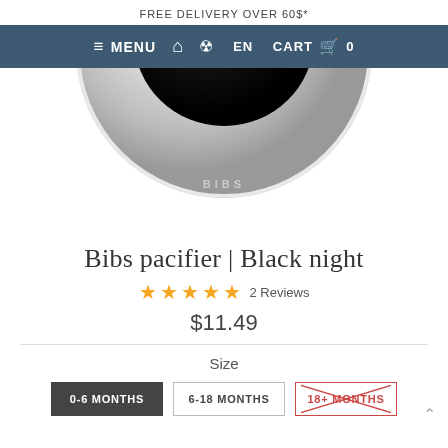FREE DELIVERY OVER 60$*
≡ MENU  🏠  👤  EN  CART  🛒  0
[Figure (photo): Close-up of a BIBS pacifier with white/grey shield and dark nipple, showing the top portion of the circular shield with BIBS branding text.]
Bibs pacifier | Black night
★★★★★ 2 Reviews
$11.49
Size
0-6 MONTHS   6-18 MONTHS   18+ MONTHS